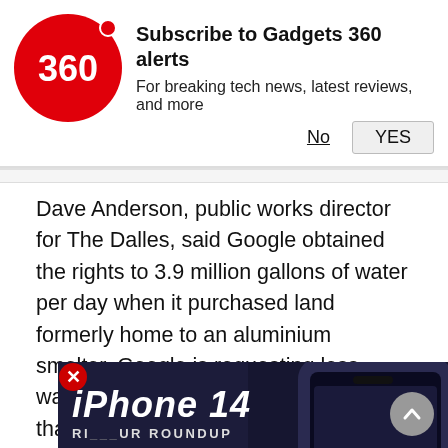[Figure (screenshot): Gadgets 360 subscription notification banner with red circular logo showing '360', bold heading 'Subscribe to Gadgets 360 alerts', subtext 'For breaking tech news, latest reviews, and more', with 'No' (underlined) and 'YES' buttons]
Dave Anderson, public works director for The Dalles, said Google obtained the rights to 3.9 million gallons of water per day when it purchased land formerly home to an aluminium smelter. Google is requesting less water for the new data centres than that a[...] transfer those rights to the city, Ande[...]
“The city comes out ahead,” he said[...]
For its part, Google said it’s “committed to the long-term health of the county’s economy and natural resources.”
[Figure (screenshot): iPhone 14 video roundup widget overlay on the right side, showing dark background with iPhone image, text 'iPhone 14' and 'ROUNDUP' with a red play button circle]